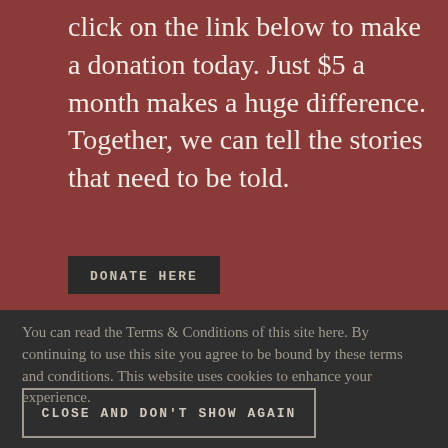click on the link below to make a donation today. Just $5 a month makes a huge difference. Together, we can tell the stories that need to be told.
DONATE HERE
You can read the Terms & Conditions of this site here. By continuing to use this site you agree to be bound by these terms and conditions. This website uses cookies to enhance your experience.
CLOSE AND DON'T SHOW AGAIN